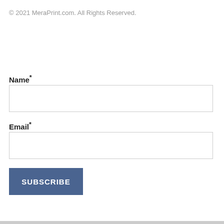© 2021 MeraPrint.com. All Rights Reserved.
Name*
Email*
SUBSCRIBE